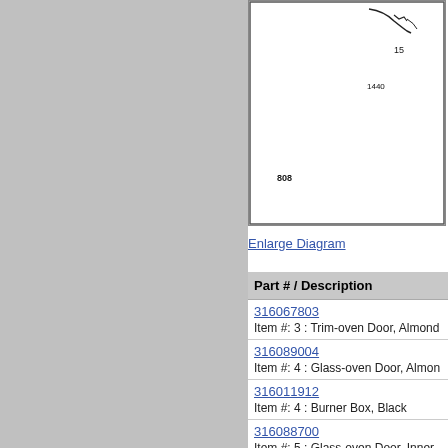[Figure (schematic): Partial engineering/exploded diagram of oven door components with part callout numbers including 15 and 1440 visible, shown in a bordered white box.]
Enlarge Diagram
| Part # / Description |
| --- |
| 316067803
Item #: 3 : Trim-oven Door, Almond |
| 316089004
Item #: 4 : Glass-oven Door, Almon |
| 316011912
Item #: 4 : Burner Box, Black |
| 316088700
Item #: 5 : Glass-oven Door, Inner |